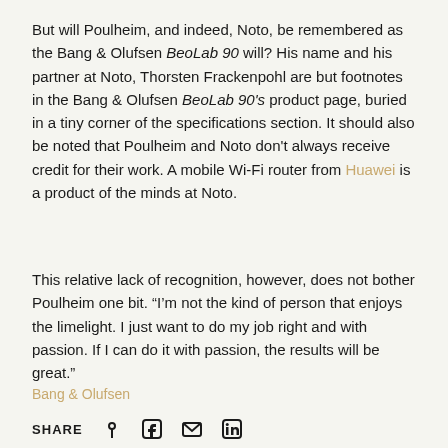But will Poulheim, and indeed, Noto, be remembered as the Bang & Olufsen BeoLab 90 will? His name and his partner at Noto, Thorsten Frackenpohl are but footnotes in the Bang & Olufsen BeoLab 90's product page, buried in a tiny corner of the specifications section. It should also be noted that Poulheim and Noto don't always receive credit for their work. A mobile Wi-Fi router from Huawei is a product of the minds at Noto.
This relative lack of recognition, however, does not bother Poulheim one bit. “I’m not the kind of person that enjoys the limelight. I just want to do my job right and with passion. If I can do it with passion, the results will be great.”
Bang & Olufsen
SHARE